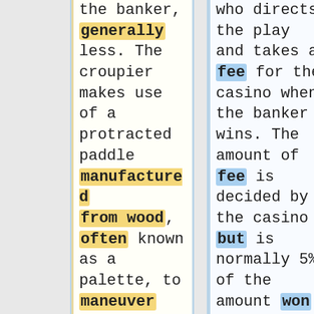the banker, generally less. The croupier makes use of a protracted paddle manufactured from wood, often known as a palette, to maneuver the cards and casino chips at the far ends of the table.<br><br>I keep in mind
who directs the play and takes a fee for the casino when the banker wins. The amount of fee is decided by the casino but is normally 5% of the amount won by the banker, typically much less. The croupier makes use